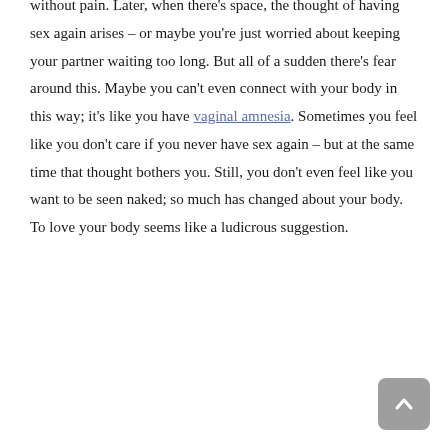without pain. Later, when there's space, the thought of having sex again arises – or maybe you're just worried about keeping your partner waiting too long. But all of a sudden there's fear around this. Maybe you can't even connect with your body in this way; it's like you have vaginal amnesia. Sometimes you feel like you don't care if you never have sex again – but at the same time that thought bothers you. Still, you don't even feel like you want to be seen naked; so much has changed about your body. To love your body seems like a ludicrous suggestion.